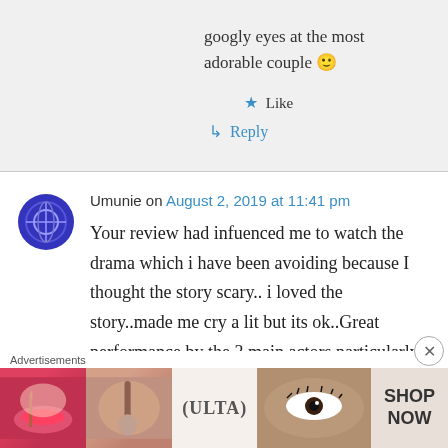googly eyes at the most adorable couple 🙂
Like
Reply
Umunie on August 2, 2019 at 11:41 pm
Your review had infuenced me to watch the drama which i have been avoiding because I thought the story scary.. i loved the story..made me cry a lit but its ok..Great performance by the 3 main actors particularly Seo In Guk. He
Advertisements